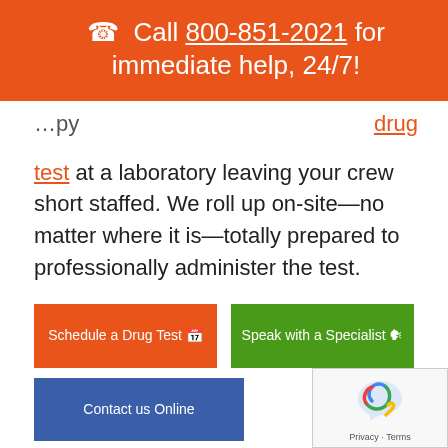Call 800-851-2021 for immediate help, 24/7!
test at a laboratory leaving your crew short staffed. We roll up on-site—no matter where it is—totally prepared to professionally administer the test.
Schedule a Drug Test
Speak with a Specialist
Contact us Online